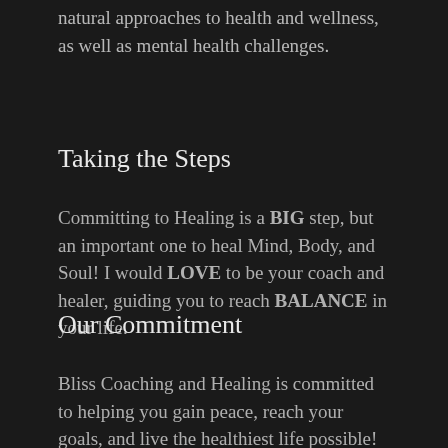natural approaches to health and wellness, as well as mental health challenges.
Taking the Steps
Committing to Healing is a BIG step, but an important one to heal Mind, Body, and Soul! I would LOVE to be your coach and healer, guiding you to reach BALANCE in your life.
Our Commitment
Bliss Coaching and Healing is committed to helping you gain peace, reach your goals, and live the healthiest life possible!